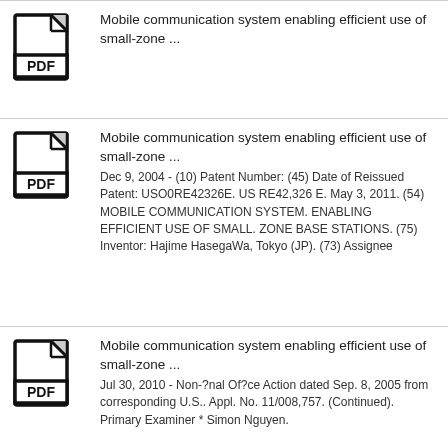[Figure (other): PDF file icon - document with folded corner and 'PDF' label]
Mobile communication system enabling efficient use of small-zone ...
[Figure (other): PDF file icon - document with folded corner and 'PDF' label]
Mobile communication system enabling efficient use of small-zone ...
Dec 9, 2004 - (10) Patent Number: (45) Date of Reissued Patent: USO0RE42326E. US RE42,326 E. May 3, 2011. (54) MOBILE COMMUNICATION SYSTEM. ENABLING EFFICIENT USE OF SMALL. ZONE BASE STATIONS. (75) Inventor: Hajime HasegaWa, Tokyo (JP). (73) Assignee
[Figure (other): PDF file icon - document with folded corner and 'PDF' label]
Mobile communication system enabling efficient use of small-zone ...
Jul 30, 2010 - Non-?nal Of?ce Action dated Sep. 8, 2005 from corresponding U.S.. Appl. No. 11/008,757. (Continued). Primary Examiner * Simon Nguyen.